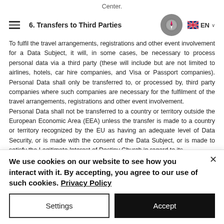Center.
6. Transfers to Third Parties
To fulfil the travel arrangements, registrations and other event involvement for a Data Subject, it will, in some cases, be necessary to process personal data via a third party (these will include but are not limited to airlines, hotels, car hire companies, and Visa or Passport companies). Personal Data shall only be transferred to, or processed by, third party companies where such companies are necessary for the fulfilment of the travel arrangements, registrations and other event involvement.
Personal Data shall not be transferred to a country or territory outside the European Economic Area (EEA) unless the transfer is made to a country or territory recognized by the EU as having an adequate level of Data Security, or is made with the consent of the Data Subject, or is made to satisfy the Legitimate Interest of Destiny Church in regard to its
We use cookies on our website to see how you interact with it. By accepting, you agree to our use of such cookies. Privacy Policy
Settings
Accept